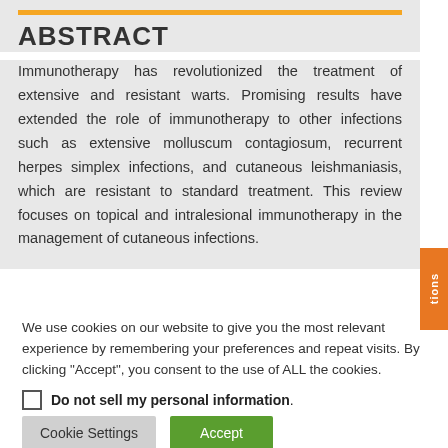ABSTRACT
Immunotherapy has revolutionized the treatment of extensive and resistant warts. Promising results have extended the role of immunotherapy to other infections such as extensive molluscum contagiosum, recurrent herpes simplex infections, and cutaneous leishmaniasis, which are resistant to standard treatment. This review focuses on topical and intralesional immunotherapy in the management of cutaneous infections.
We use cookies on our website to give you the most relevant experience by remembering your preferences and repeat visits. By clicking “Accept”, you consent to the use of ALL the cookies.
Do not sell my personal information
Cookie Settings    Accept